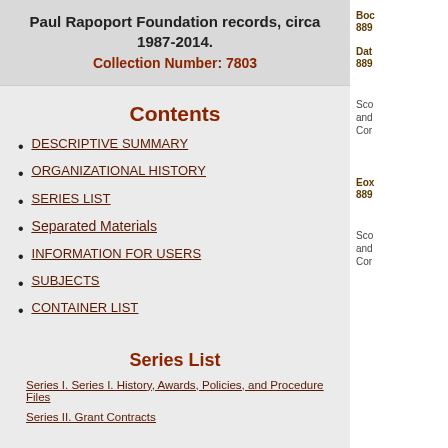Paul Rapoport Foundation records, circa 1987-2014.
Collection Number: 7803
Contents
DESCRIPTIVE SUMMARY
ORGANIZATIONAL HISTORY
SERIES LIST
Separated Materials
INFORMATION FOR USERS
SUBJECTS
CONTAINER LIST
Series List
Series I. Series I. History, Awards, Policies, and Procedure Files
Series II. Grant Contracts